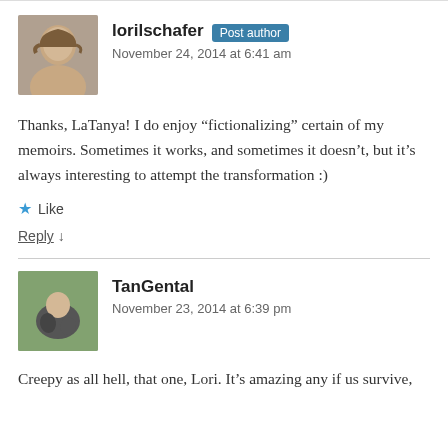lorilschafer Post author
November 24, 2014 at 6:41 am
Thanks, LaTanya! I do enjoy “fictionalizing” certain of my memoirs. Sometimes it works, and sometimes it doesn’t, but it’s always interesting to attempt the transformation :)
★ Like
Reply ↓
TanGental
November 23, 2014 at 6:39 pm
Creepy as all hell, that one, Lori. It’s amazing any if us survive,